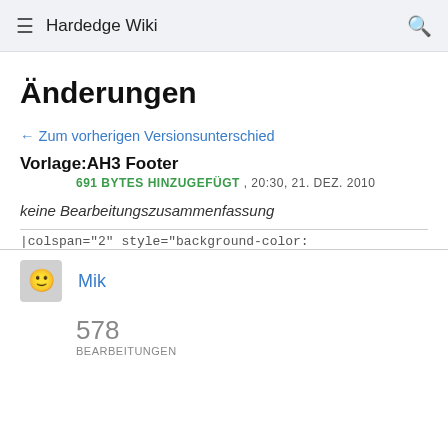Hardedge Wiki
Änderungen
← Zum vorherigen Versionsunterschied
Vorlage:AH3 Footer
691 BYTES HINZUGEFÜGT , 20:30, 21. DEZ. 2010
keine Bearbeitungszusammenfassung
|colspan="2" style="background-color:
Mik
578
BEARBEITUNGEN